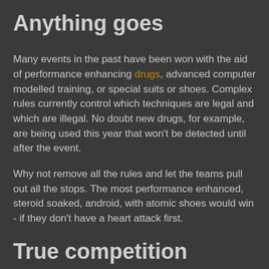Anything goes
Many events in the past have been won with the aid of performance enhancing drugs, advanced computer modelled training, or special suits or shoes. Complex rules currently control which techniques are legal and which are illegal. No doubt new drugs, for example, are being used this year that won't be detected until after the event.
Why not remove all the rules and let the teams pull out all the stops. The most performance enhanced, steroid soaked, android, with atomic shoes would win - if they don't have a heart attack first.
True competition
If the medal tally is really a measure of the performance of the people of a nation, perhaps no preparation should be